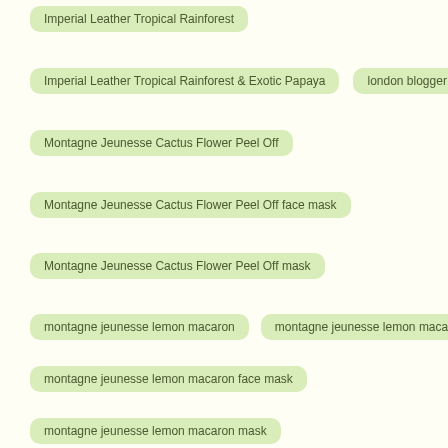Imperial Leather Tropical Rainforest
Imperial Leather Tropical Rainforest & Exotic Papaya
london blogger
Montagne Jeunesse Cactus Flower Peel Off
Montagne Jeunesse Cactus Flower Peel Off face mask
Montagne Jeunesse Cactus Flower Peel Off mask
montagne jeunesse lemon macaron
montagne jeunesse lemon macaron clay mask
montagne jeunesse lemon macaron face mask
montagne jeunesse lemon macaron mask
Montagne Jeunesse Pink Cactus Flower Peel Off
Montagne Jeunesse Pink Cactus Flower Peel Off face mask
Montagne Jeunesse Pink Cactus Flower Peel Off mask
Montagne Jeunesse Super Green Tea Peel Off